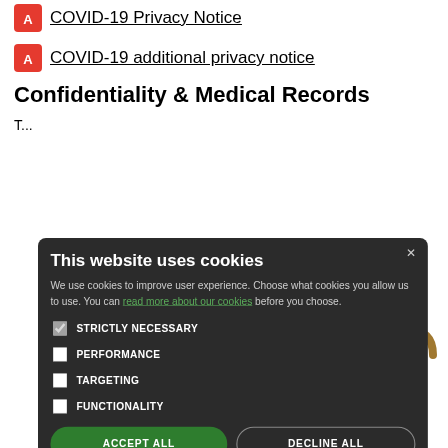COVID-19 Privacy Notice
COVID-19 additional privacy notice
Confidentiality & Medical Records
[Figure (screenshot): Cookie consent overlay dialog on a medical website. The dialog has a dark background and contains: title 'This website uses cookies', description text about improving user experience with a green link 'read more about our cookies', checkboxes for STRICTLY NECESSARY (checked), PERFORMANCE, TARGETING, FUNCTIONALITY, and two buttons: ACCEPT ALL (green) and DECLINE ALL (outlined).]
[Figure (illustration): Teal/cyan envelope or folder with a metal chain wrapped around it and a gold padlock, representing data security and confidentiality of medical records.]
rtment. This
hild protection will also be the Health Board and Government plan services e.g. for diabetic